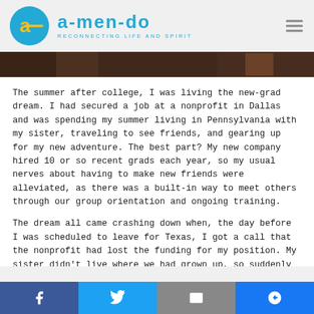[Figure (logo): Amendo logo with teal circle containing yellow 'a' and dash, and teal text 'amendo' with tagline 'RECONNECTING LIFE AND SPIRIT']
[Figure (photo): Dark cropped photo strip showing partial view of people]
The summer after college, I was living the new-grad dream. I had secured a job at a nonprofit in Dallas and was spending my summer living in Pennsylvania with my sister, traveling to see friends, and gearing up for my new adventure. The best part? My new company hired 10 or so recent grads each year, so my usual nerves about having to make new friends were alleviated, as there was a built-in way to meet others through our group orientation and ongoing training.
The dream all came crashing down when, the day before I was scheduled to leave for Texas, I got a call that the nonprofit had lost the funding for my position. My sister didn't live where we had grown up, so suddenly I found myself without a job, without a long-term housing plan, and in an area where I knew
[Figure (infographic): Social media share bar with Facebook, Twitter, Email, and Messenger buttons]